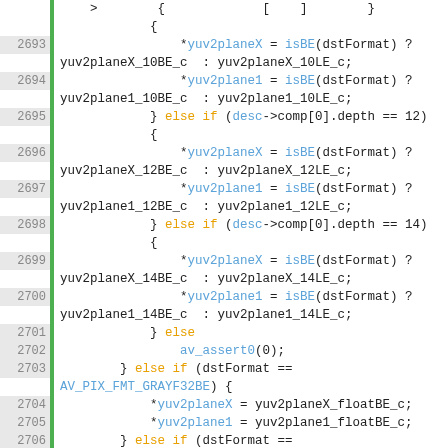[Figure (screenshot): Source code listing in C showing lines 2693–2715+ of a video format conversion function, with syntax highlighting: line numbers in grey, keywords in orange, identifiers/functions in blue, on white background with green vertical bar separator.]